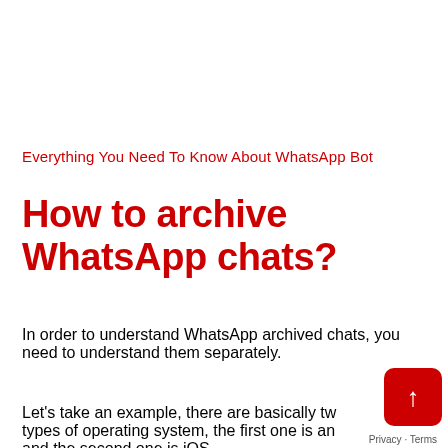Everything You Need To Know About WhatsApp Bot
How to archive WhatsApp chats?
In order to understand WhatsApp archived chats, you need to understand them separately.
Let's take an example, there are basically two types of operating system, the first one is an and the second one is iOS.